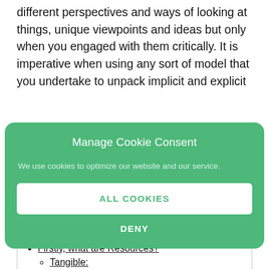different perspectives and ways of looking at things, unique viewpoints and ideas but only when you engaged with them critically. It is imperative when using any sort of model that you undertake to unpack implicit and explicit
[Figure (other): Cookie consent modal overlay with green background. Title: 'Manage Cookie Consent'. Body text: 'We use cookies to optimize our website and our service.' Two buttons: 'ALL COOKIES' (white button, green text) and 'DENY' (transparent, white text).]
Table Of Contents
Firstly, what are Resources?
Tangible: